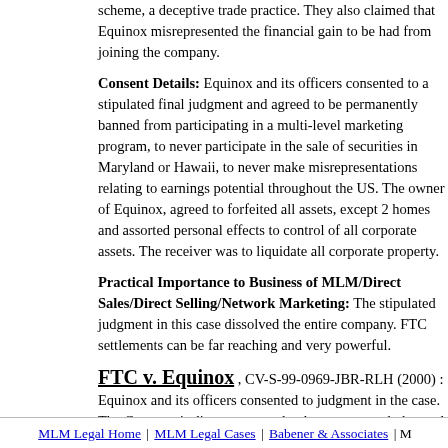scheme, a deceptive trade practice. They also claimed that Equinox misrepresented the financial gain to be had from joining the company.
Consent Details: Equinox and its officers consented to a stipulated final judgment and agreed to be permanently banned from participating in a multi-level marketing program, to never participate in the sale of securities in Maryland or Hawaii, to never make misrepresentations relating to earnings potential throughout the US. The owner of Equinox, agreed to forfeited all assets, except 2 homes and assorted personal effects to receiver control of all corporate assets. The receiver was to liquidate all corporate property.
Practical Importance to Business of MLM/Direct Sales/Direct Selling/Network Marketing: The stipulated judgment in this case dissolved the entire company. FTC settlements can be far reaching and very powerful.
FTC v. Equinox , CV-S-99-0969-JBR-RLH (2000) : Equinox and its officers consented to judgment in the case. The Company's directors agreed to be permanently banned from any marketing program or pyramid schemes in the future, to never participate in securities sales, to not misrepresent advertising in Nevada, and to not make misrepresentations throughout the United States. Further, Bill Gould, an officer of Equinox, agreed to forfeited assets, personal effects, to an equity receiver who also take control of all corporate assets to liquidate corporate property to fund consumer redress.
www.mlmlegal.com www.mlmlegal.com www.mlmlegal.com www.mlmlegal.com
MLM Legal Home | MLM Legal Cases | Babener & Associates | M